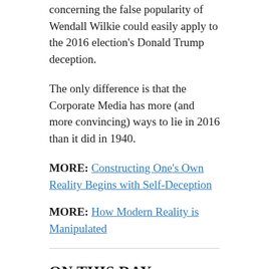concerning the false popularity of Wendall Wilkie could easily apply to the 2016 election's Donald Trump deception.
The only difference is that the Corporate Media has more (and more convincing) ways to lie in 2016 than it did in 1940.
MORE: Constructing One's Own Reality Begins with Self-Deception
MORE: How Modern Reality is Manipulated
ON THIS DAY